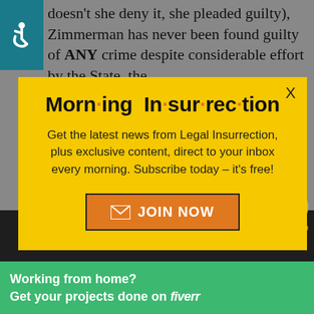doesn't she deny it, she pleaded guilty), Zimmerman has never been found guilty of ANY crime despite considerable effort by the State, the
[Figure (screenshot): Morning Insurrection newsletter popup modal on yellow background with JOIN NOW button]
Here, read it and weep:
[Figure (screenshot): Fiverr advertisement banner: Working from home? Get your projects done on fiverr]